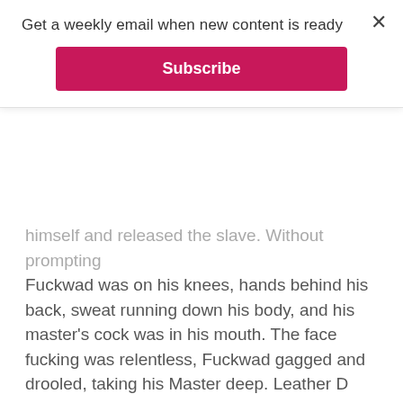Get a weekly email when new content is ready
Subscribe
himself and released the slave. Without prompting Fuckwad was on his knees, hands behind his back, sweat running down his body, and his master's cock was in his mouth. The face fucking was relentless, Fuckwad gagged and drooled, taking his Master deep. Leather D lost control, just for a moment. I caught the look of pleasure as he watched the slave bring him to climax. He came in the slave's mouth, and the cum dripped off his chin. He made no effort to clean his face.
“Bring me the horse, I will finish you off hard, and you will be grateful.” Leather D used a towel and zipped